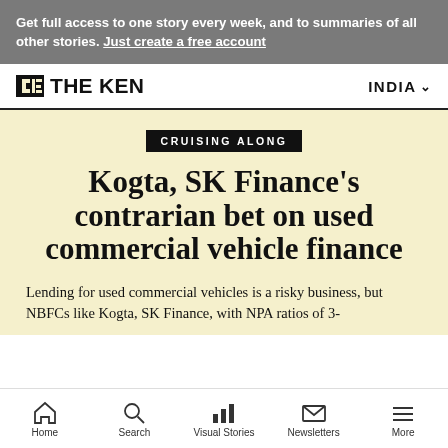Get full access to one story every week, and to summaries of all other stories. Just create a free account
THE KEN — INDIA
CRUISING ALONG
Kogta, SK Finance's contrarian bet on used commercial vehicle finance
Lending for used commercial vehicles is a risky business, but NBFCs like Kogta, SK Finance, with NPA ratios of 3-